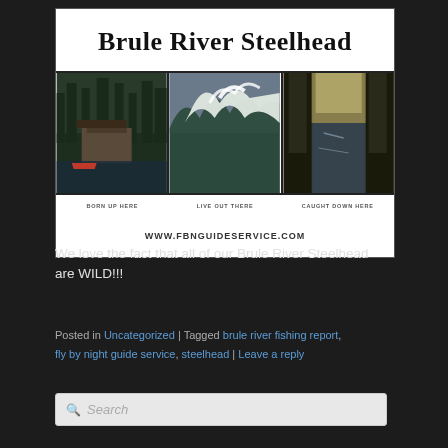[Figure (screenshot): Brule River Steelhead website banner with title in script font, three nature photos (lake cabin, ocean wave, forest river), captions 'Born Up Here', 'Live Out There', 'Caught Down Here', and URL www.fbnguideservice.com]
We love the fact that all of our Brule River Steelhead are WILD!!!
Posted in Uncategorized | Tagged brule river fishing report, fly by night guide service, steelhead | Leave a reply
Search